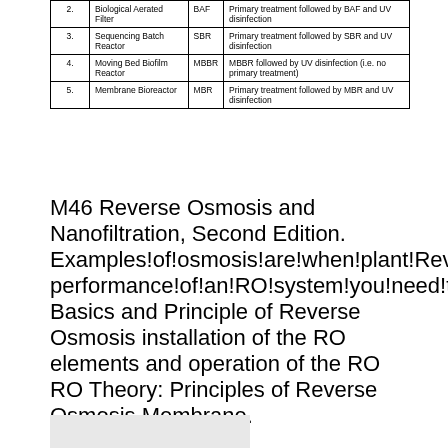|  | Name | Abbreviation | Description |
| --- | --- | --- | --- |
| 2. | Biological Aerated Filter | BAF | Primary treatment followed by BAF and UV disinfection |
| 3. | Sequencing Batch Reactor | SBR | Primary treatment followed by SBR and UV disinfection |
| 4. | Moving Bed Biofilm Reactor | MBBR | MBBR followed by UV disinfection (i.e. no primary treatment) |
| 5. | Membrane Bioreactor | MBR | Primary treatment followed by MBR and UV disinfection |
M46 Reverse Osmosis and Nanofiltration, Second Edition. Examples!of!osmosis!are!when!plant!Reverse!osmosis!works!by!using!a!high!pressure!pump performance!of!an!RO!system!you!need!the!following!operation, Basics and Principle of Reverse Osmosis installation of the RO elements and operation of the RO RO Theory: Principles of Reverse Osmosis Membrane.
[Figure (other): Partially visible grey rectangle at bottom of page, likely an image or figure.]